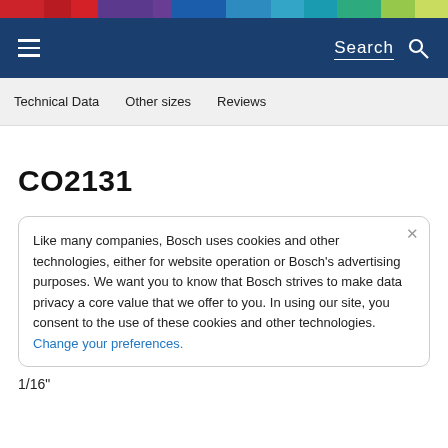Search
Technical Data   Other sizes   Reviews
CO2131
Like many companies, Bosch uses cookies and other technologies, either for website operation or Bosch’s advertising purposes. We want you to know that Bosch strives to make data privacy a core value that we offer to you. In using our site, you consent to the use of these cookies and other technologies. Change your preferences.
1/16"